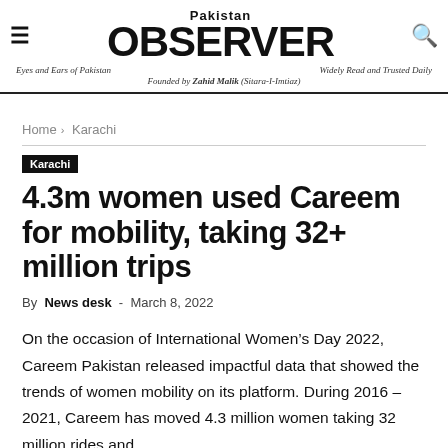Pakistan OBSERVER | Eyes and Ears of Pakistan | Widely Read and Trusted Daily | Founded by Zahid Malik (Sitara-I-Imtiaz)
Home › Karachi
Karachi
4.3m women used Careem for mobility, taking 32+ million trips
By News desk - March 8, 2022
On the occasion of International Women's Day 2022, Careem Pakistan released impactful data that showed the trends of women mobility on its platform. During 2016 – 2021, Careem has moved 4.3 million women taking 32 million rides and